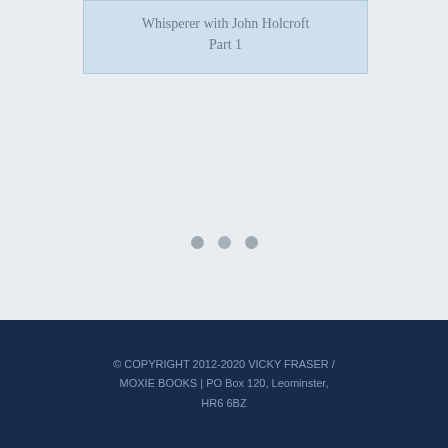Whisperer with John Holcroft Part 1
[Figure (other): Three small grey dots indicating a loading or pagination indicator]
© COPYRIGHT 2012-2020 VICKY FRASER / MOXIE BOOKS | PO Box 120, Leominster, HR6 6BZ